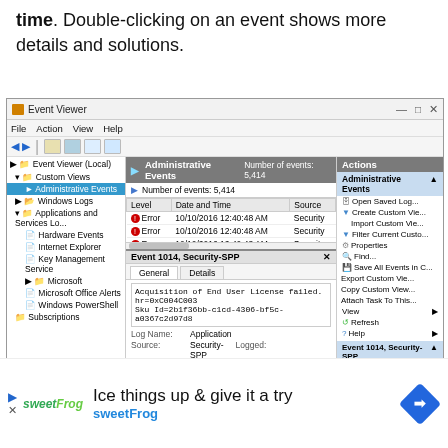time. Double-clicking on an event shows more details and solutions.
[Figure (screenshot): Windows Event Viewer screenshot showing Administrative Events with 5,414 events listed, multiple Error entries from Security source dated 10/10/2016, and a detail panel showing Event 1014, Security-SPP with an Acquisition of End User License failed error message. Actions panel visible on the right.]
[Figure (infographic): Advertisement banner for sweetFrog frozen yogurt: 'Ice things up & give it a try sweetFrog' with logo and directional sign icon.]